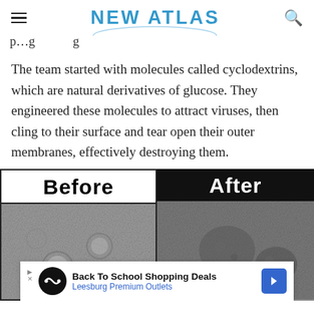NEW ATLAS
p…g … g
The team started with molecules called cyclodextrins, which are natural derivatives of glucose. They engineered these molecules to attract viruses, then cling to their surface and tear open their outer membranes, effectively destroying them.
[Figure (photo): Split before/after microscopy images showing virus particles before and after treatment with engineered cyclodextrin molecules. Left panel labeled 'Before' on white background showing intact virus particles visible as round structures in grayscale electron microscopy image. Right panel labeled 'After' on black background showing disrupted/destroyed virus particles.]
Back To School Shopping Deals Leesburg Premium Outlets